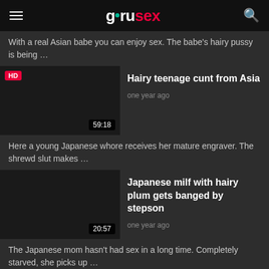gurusex
With a real Asian babe you can enjoy sex. The babe's hairy pussy is being …
[Figure (screenshot): Video thumbnail placeholder for 'Hairy teenage cunt from Asia', HD badge, duration 59:18]
Hairy teenage cunt from Asia
one year ago
Here a young Japanese whore receives her mature engraver. The shrewd slut makes …
[Figure (screenshot): Video thumbnail placeholder for 'Japanese milf with hairy plum gets banged by stepson', duration 20:57]
Japanese milf with hairy plum gets banged by stepson
one year ago
The Japanese mom hasn't had sex in a long time. Completely starved, she picks up …
Japanese girl has her hairy twat banged